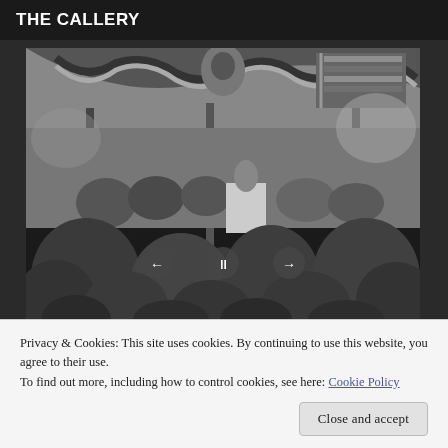THE CALLERY
[Figure (photo): Black and white historical photograph of a large outdoor public gathering or ceremony under a decorated pavilion with American flags and bunting, crowd of people in early 20th century attire, speaker at a podium on a raised platform, trees visible in background. Navigation controls (left arrow, pause, right arrow) overlaid at bottom center.]
Privacy & Cookies: This site uses cookies. By continuing to use this website, you agree to their use.
To find out more, including how to control cookies, see here: Cookie Policy
Close and accept